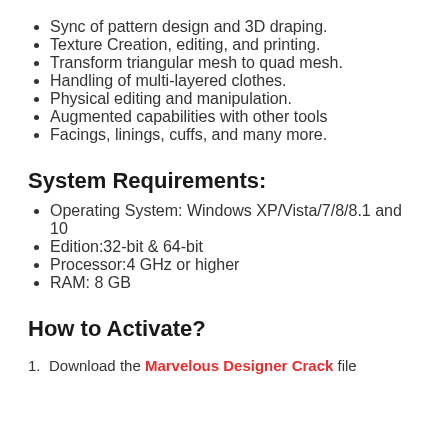Sync of pattern design and 3D draping.
Texture Creation, editing, and printing.
Transform triangular mesh to quad mesh.
Handling of multi-layered clothes.
Physical editing and manipulation.
Augmented capabilities with other tools
Facings, linings, cuffs, and many more.
System Requirements:
Operating System: Windows XP/Vista/7/8/8.1 and 10
Edition:32-bit & 64-bit
Processor:4 GHz or higher
RAM: 8 GB
How to Activate?
Download the Marvelous Designer Crack file